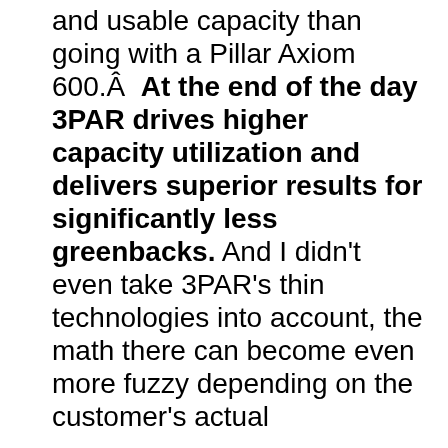and usable capacity than going with a Pillar Axiom 600.Â  At the end of the day 3PAR drives higher capacity utilization and delivers superior results for significantly less greenbacks. And I didn't even take 3PAR's thin technologies into account, the math there can become even more fuzzy depending on the customer's actual